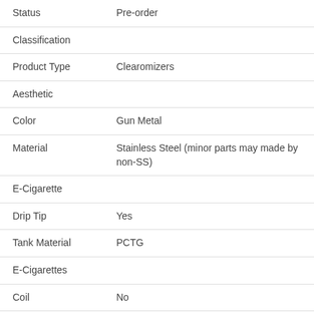| Attribute | Value |
| --- | --- |
| Status | Pre-order |
| Classification |  |
| Product Type | Clearomizers |
| Aesthetic |  |
| Color | Gun Metal |
| Material | Stainless Steel (minor parts may made by non-SS) |
| E-Cigarette |  |
| Drip Tip | Yes |
| Tank Material | PCTG |
| E-Cigarettes |  |
| Coil | No |